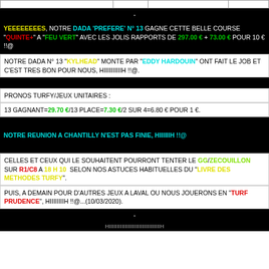|  |  |  |  |
| --- | --- | --- | --- |
|   |   |   |   |
-
YEEEEEEEES, NOTRE DADA 'PREFERE' N° 13 GAGNE CETTE BELLE COURSE "QUINTE+" A "FEU VERT" AVEC LES JOLIS RAPPORTS DE 297.00 € + 73.00 € POUR 10 € !!@
NOTRE DADA N° 13 "KYLHEAD" MONTE PAR "EDDY HARDOUIN" ONT FAIT LE JOB ET C'EST TRES BON POUR NOUS, HIIIIIIIIIIH !!@.
-
PRONOS TURFY/JEUX UNITAIRES :
13 GAGNANT=29.70 €/13 PLACE=7.30 €/2 SUR 4=6.80 € POUR 1 €.
-
NOTRE REUNION A CHANTILLY N'EST PAS FINIE, HIIIIIIH !!@
-
CELLES ET CEUX QUI LE SOUHAITENT POURRONT TENTER LE GG/ZECOUILLON SUR R1/C8 A 18 H 10 SELON NOS ASTUCES HABITUELLES DU "LIVRE DES METHODES TURFY".
PUIS, A DEMAIN POUR D'AUTRES JEUX A LAVAL OU NOUS JOUERONS EN "TURF PRUDENCE", HIIIIIIIIH !!@...(10/03/2020).
-
HIIIIIIIIIIIIIIIIIIIIIIIIIIIIIIIIH